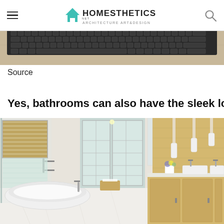Homesthetics - Architecture Art & Design
[Figure (photo): Cropped photo of a keyboard on a wooden desk surface, partially visible at the top of the page]
Source
Yes, bathrooms can also have the sleek look!
[Figure (photo): Bright modern bathroom with a freestanding white soaking tub, glass shower enclosure, bamboo roman shades, French windows with shutters, warm wood cabinetry on the right, cylindrical pendant lights, a marble tile floor, and a double vanity with vessel sinks]